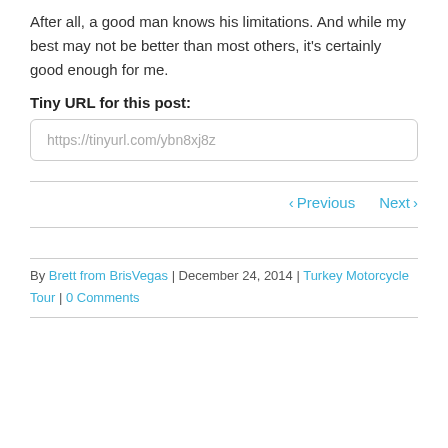After all, a good man knows his limitations. And while my best may not be better than most others, it's certainly good enough for me.
Tiny URL for this post:
https://tinyurl.com/ybn8xj8z
◄ Previous   Next ►
By Brett from BrisVegas | December 24, 2014 | Turkey Motorcycle Tour | 0 Comments